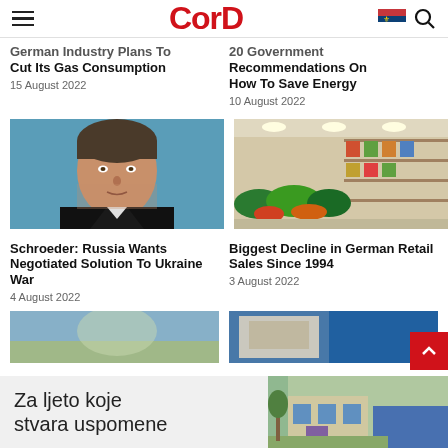CorD
German Industry Plans To Cut Its Gas Consumption
15 August 2022
20 Government Recommendations On How To Save Energy
10 August 2022
[Figure (photo): Portrait photo of a man (Schroeder) against a blue background]
[Figure (photo): Photo of a supermarket produce section with vegetables and shelves]
Schroeder: Russia Wants Negotiated Solution To Ukraine War
4 August 2022
Biggest Decline in German Retail Sales Since 1994
3 August 2022
[Figure (photo): Partial photo at bottom left, cropped]
[Figure (photo): Partial photo at bottom right, blue tones, cropped]
Za ljeto koje stvara uspomene